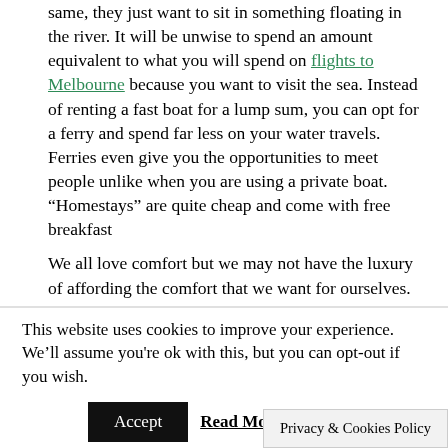same, they just want to sit in something floating in the river. It will be unwise to spend an amount equivalent to what you will spend on flights to Melbourne because you want to visit the sea. Instead of renting a fast boat for a lump sum, you can opt for a ferry and spend far less on your water travels. Ferries even give you the opportunities to meet people unlike when you are using a private boat. “Homestays” are quite cheap and come with free breakfast
We all love comfort but we may not have the luxury of affording the comfort that we want for ourselves. Most people think of hotels and nice means of accommodation. This is usually because they do not know that other forms of accommodation exists. Unlike hostels, homestays are more like family hotels. To put an icing on the cake, they also give you free breakfast in addition to a comfortable place to lay your head.
Try to blend in to avoid giving yourself off as a tourist
It is hard to not give yourself off as a first timer. The locals will know especially if you are a first timer. Selling yourself out as a tourist means an increase in the prices of goods and services. It will be difficult for you to walk
This website uses cookies to improve your experience. We’ll assume you're ok with this, but you can opt-out if you wish.